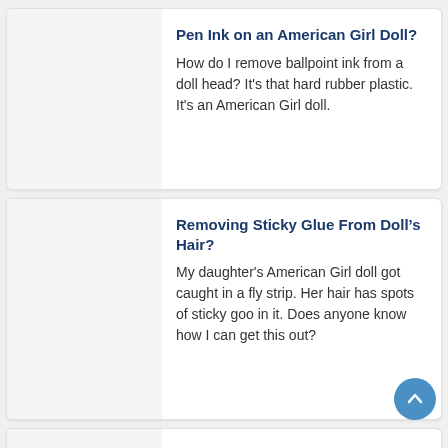Pen Ink on an American Girl Doll?
How do I remove ballpoint ink from a doll head? It's that hard rubber plastic. It's an American Girl doll.
Removing Sticky Glue From Doll’s Hair?
My daughter's American Girl doll got caught in a fly strip. Her hair has spots of sticky goo in it. Does anyone know how I can get this out?
Musty Smell on a Stuffed Toy?
My daughter got an old poseable teddy bear from a friend of mine and it smells mus… Can I wash and dry this? And if I can, ho…